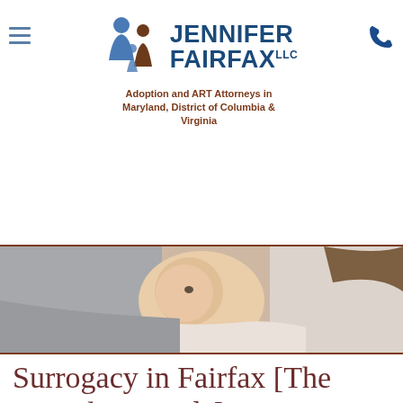Jennifer Fairfax LLC — Adoption and ART Attorneys in Maryland, District of Columbia & Virginia
[Figure (photo): A baby lying between two adults, one in a gray shirt and one in a white top, with the baby looking upward — a surrogacy/family-related photograph.]
Surrogacy in Fairfax [The Complete Guide]